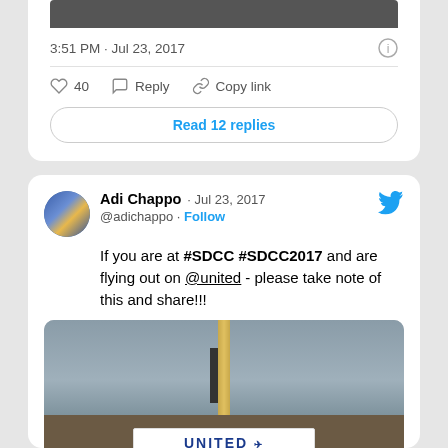[Figure (screenshot): Partial tweet card showing image strip at top, timestamp 3:51 PM · Jul 23, 2017, action row with heart/40/Reply/Copy link, and Read 12 replies button]
3:51 PM · Jul 23, 2017
40  Reply  Copy link
Read 12 replies
[Figure (screenshot): Tweet by Adi Chappo (@adichappo) dated Jul 23, 2017 with text: If you are at #SDCC #SDCC2017 and are flying out on @united - please take note of this and share!!! with a photo of United Airlines gate display showing COMIC-CON ATTENDEES: REMOVE ALL BOOKS FROM CHECKED BAGS]